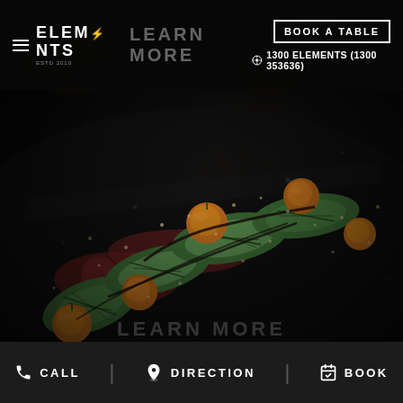[Figure (photo): Dark moody food photograph showing a plated dish with sliced avocado, cherry tomatoes, beet hummus, and garnishes on a dark slate surface]
ELEMENTS | LEARN MORE | BOOK A TABLE | 1300 ELEMENTS (1300 353636)
CALL | DIRECTION | BOOK